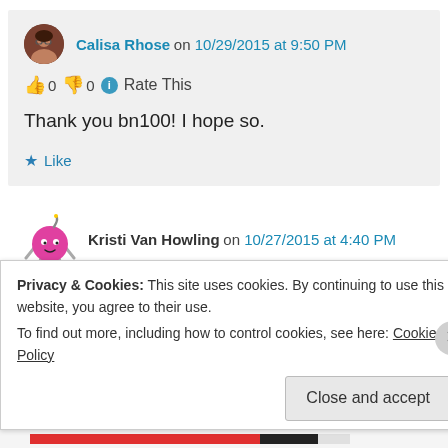Calisa Rhose on 10/29/2015 at 9:50 PM
👍 0 👎 0 ℹ Rate This
Thank you bn100! I hope so.
★ Like
Kristi Van Howling on 10/27/2015 at 4:40 PM
👍 1 👎 0 ℹ Rate This
Privacy & Cookies: This site uses cookies. By continuing to use this website, you agree to their use. To find out more, including how to control cookies, see here: Cookie Policy
Close and accept